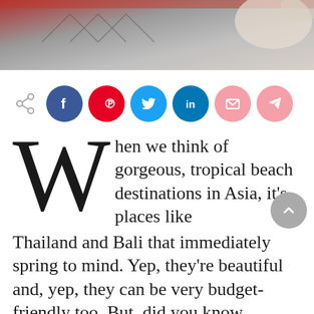[Figure (photo): Hero image of a bedroom or interior with red/patterned textiles at the top of the page]
[Figure (infographic): Social share buttons row: share icon, Facebook (blue), Pinterest (red), Twitter (blue), LinkedIn (dark blue), Email (pink), Telegram (pink)]
When we think of gorgeous, tropical beach destinations in Asia, it's places like Thailand and Bali that immediately spring to mind. Yep, they're beautiful and, yep, they can be very budget-friendly too. But, did you know, Cambodia is just as